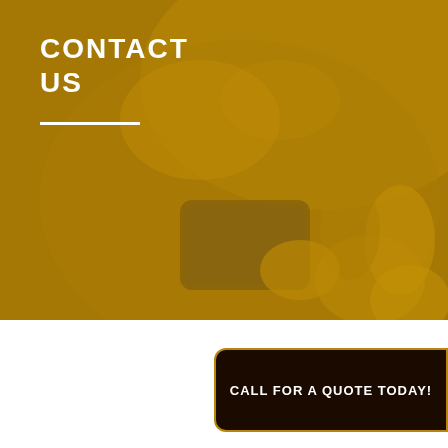[Figure (photo): Close-up photo of a person's hand holding a smartphone, with a golden/amber color overlay tint covering the entire image. The background shows someone operating a device.]
CONTACT US
Drill Into D...
DRILLING, HAULING AND ...
CALL FOR A QUOTE TODAY!